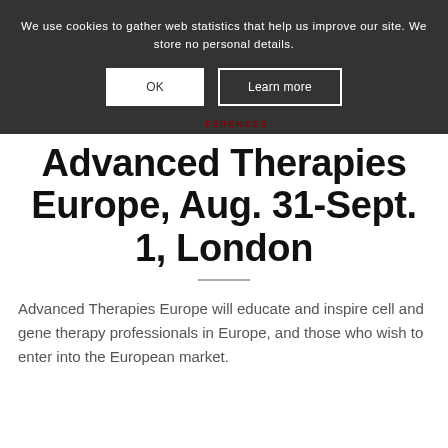We use cookies to gather web statistics that help us improve our site. We store no personal details.
Advanced Therapies Europe, Aug. 31-Sept. 1, London
Advanced Therapies Europe will educate and inspire cell and gene therapy professionals in Europe, and those who wish to enter into the European market.